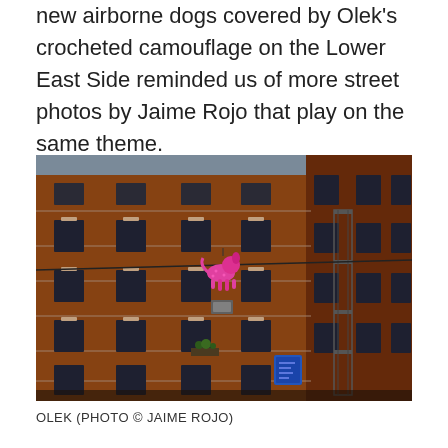new airborne dogs covered by Olek's crocheted camouflage on the Lower East Side reminded us of more street photos by Jaime Rojo that play on the same theme.
[Figure (photo): Street photograph of red brick apartment buildings on the Lower East Side in New York City. A pink crocheted dog figure hangs from a wire strung between buildings. In the lower right area, a blue object is visible. The buildings have ornate stone window surrounds and fire escapes.]
OLEK (PHOTO © JAIME ROJO)